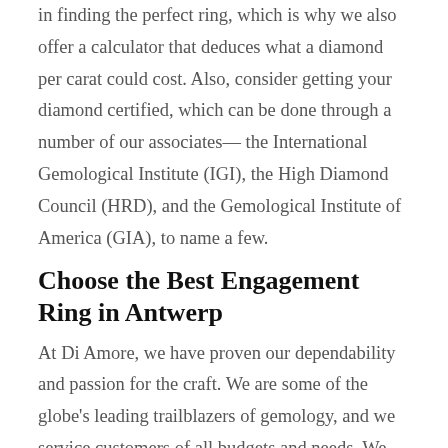in finding the perfect ring, which is why we also offer a calculator that deduces what a diamond per carat could cost. Also, consider getting your diamond certified, which can be done through a number of our associates— the International Gemological Institute (IGI), the High Diamond Council (HRD), and the Gemological Institute of America (GIA), to name a few.
Choose the Best Engagement Ring in Antwerp
At Di Amore, we have proven our dependability and passion for the craft. We are some of the globe's leading trailblazers of gemology, and we service customers of all budgets and needs. We can be found all over social media—across Facebook, Instagram, and Twitter, specifically—to be easily contacted for further questions, comments, and